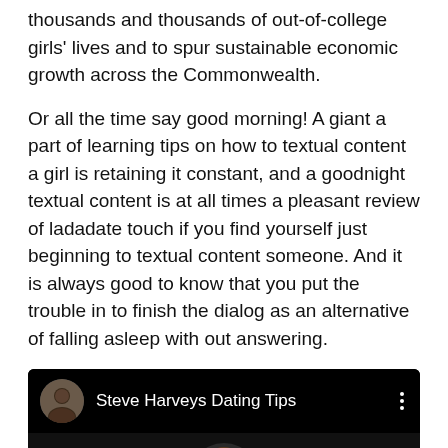thousands and thousands of out-of-college girls' lives and to spur sustainable economic growth across the Commonwealth.
Or all the time say good morning! A giant a part of learning tips on how to textual content a girl is retaining it constant, and a goodnight textual content is at all times a pleasant review of ladadate touch if you find yourself just beginning to textual content someone. And it is always good to know that you put the trouble in to finish the dialog as an alternative of falling asleep with out answering.
[Figure (screenshot): YouTube-style video thumbnail showing 'Steve Harveys Dating Tips' channel with a man in a white suit, dark background]